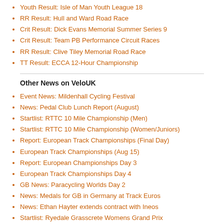Youth Result: Isle of Man Youth League 18
RR Result: Hull and Ward Road Race
Crit Result: Dick Evans Memorial Summer Series 9
Crit Result: Team PB Performance Circuit Races
RR Result: Clive Tiley Memorial Road Race
TT Result: ECCA 12-Hour Championship
Other News on VeloUK
Event News: Mildenhall Cycling Festival
News: Pedal Club Lunch Report (August)
Startlist: RTTC 10 Mile Championship (Men)
Startlist: RTTC 10 Mile Championship (Women/Juniors)
Report: European Track Championships (Final Day)
European Track Championships (Aug 15)
Report: European Championships Day 3
European Track Championships Day 4
GB News: Paracycling Worlds Day 2
News: Medals for GB in Germany at Track Euros
News: Ethan Hayter extends contract with Ineos
Startlist: Ryedale Grasscrete Womens Grand Prix
EVENTS: Bath Cycling Club Road Races
Startlists: Manx Telecom International Stage Race
Startlists: Lancaster Grand Prix